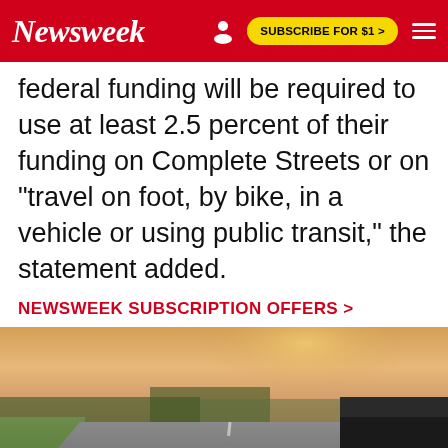Newsweek | SUBSCRIBE FOR $1 >
federal funding will be required to use at least 2.5 percent of their funding on Complete Streets or on "travel on foot, by bike, in a vehicle or using public transit," the statement added.
NEWSWEEK SUBSCRIPTION OFFERS >
[Figure (photo): A bicycle lying on a road next to a car tire, with a blurred background of trees and sky at dusk.]